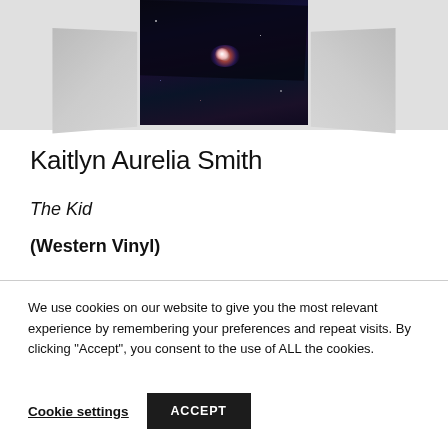[Figure (photo): Album cover artwork for 'The Kid' by Kaitlyn Aurelia Smith on Western Vinyl, showing a dark cosmic/nebula image with a vinyl record sleeve on a light grey background]
Kaitlyn Aurelia Smith
The Kid
(Western Vinyl)
We use cookies on our website to give you the most relevant experience by remembering your preferences and repeat visits. By clicking "Accept", you consent to the use of ALL the cookies.
Cookie settings
ACCEPT